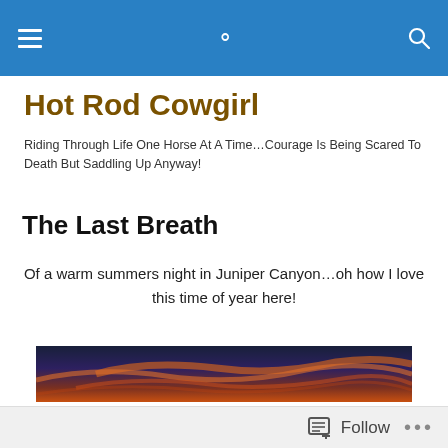Hot Rod Cowgirl
Riding Through Life One Horse At A Time…Courage Is Being Scared To Death But Saddling Up Anyway!
The Last Breath
Of a warm summers night in Juniper Canyon…oh how I love this time of year here!
[Figure (photo): A dramatic sunset sky over Juniper Canyon with deep blue, purple, and orange-red streaked clouds]
Follow  •••